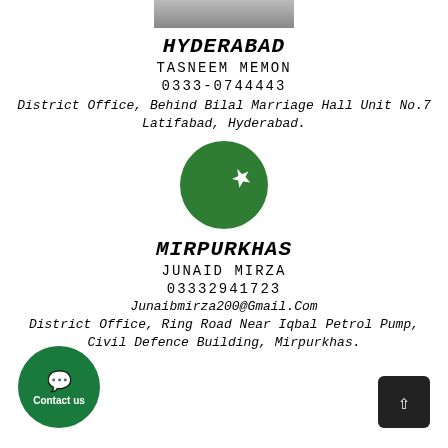[Figure (photo): Partial photo of a person at the top of the page]
HYDERABAD
TASNEEM MEMON
0333-0744443
District Office, Behind Bilal Marriage Hall Unit No.7 Latifabad, Hyderabad.
[Figure (illustration): Pakistan flag circular emblem — green circle with white crescent and star]
MIRPURKHAS
JUNAID MIRZA
03332941723
Junaibmirza200@Gmail.Com
District Office, Ring Road Near Iqbal Petrol Pump, Civil Defence Building, Mirpurkhas.